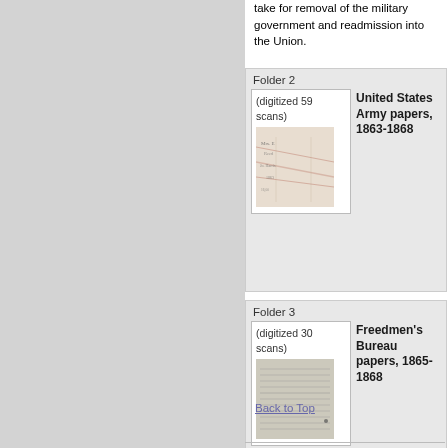take for removal of the military government and readmission into the Union.
Folder 2
(digitized 59 scans)
[Figure (photo): Scanned historical document image, handwritten text on old paper with pink/red markings]
United States Army papers, 1863-1868
Folder 3
(digitized 30 scans)
[Figure (photo): Scanned historical document image, handwritten/printed text on aged paper]
Freedmen's Bureau papers, 1865-1868
Back to Top